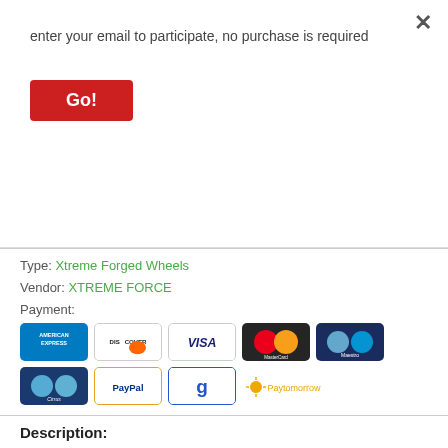enter your email to participate, no purchase is required
Go!
Type: Xtreme Forged Wheels
Vendor: XTREME FORCE
Payment:
[Figure (logo): Payment method logos: American Express, Discover, Visa, MasterCard, Maestro, Cirrus, PayPal, Google, Paytomorrow]
Description:
| Partnumber | 26RPL008 |
| Brand | Xtreme Force |
| Model | Forged 008 True Dire... |
| Finish | Polished |
| Finish Description | Full Polished |